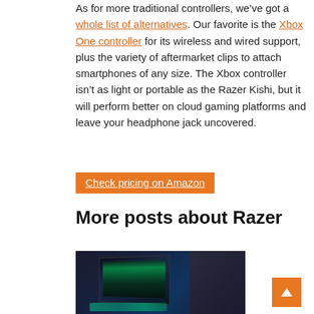As for more traditional controllers, we've got a whole list of alternatives. Our favorite is the Xbox One controller for its wireless and wired support, plus the variety of aftermarket clips to attach smartphones of any size. The Xbox controller isn't as light or portable as the Razer Kishi, but it will perform better on cloud gaming platforms and leave your headphone jack uncovered.
Check pricing on Amazon
More posts about Razer
[Figure (photo): Photo of a Razer laptop with a glowing green keyboard on a dark surface, with the screen showing a dark green interface. Dark background visible on the right side of the image.]